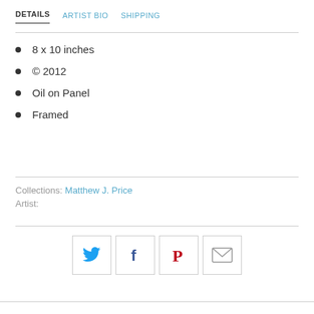DETAILS   ARTIST BIO   SHIPPING
8 x 10 inches
© 2012
Oil on Panel
Framed
Collections: Matthew J. Price
Artist:
[Figure (infographic): Social sharing buttons: Twitter (blue bird icon), Facebook (dark blue f icon), Pinterest (red P icon), Email (envelope icon)]